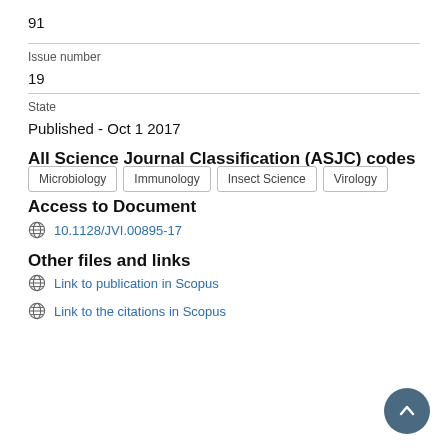91
Issue number
19
State
Published - Oct 1 2017
All Science Journal Classification (ASJC) codes
Microbiology
Immunology
Insect Science
Virology
Access to Document
10.1128/JVI.00895-17
Other files and links
Link to publication in Scopus
Link to the citations in Scopus